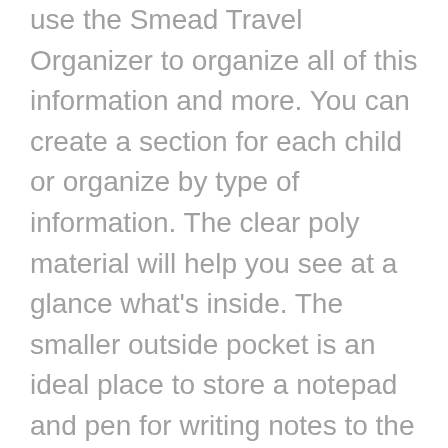use the Smead Travel Organizer to organize all of this information and more. You can create a section for each child or organize by type of information. The clear poly material will help you see at a glance what's inside. The smaller outside pocket is an ideal place to store a notepad and pen for writing notes to the teacher.
The Smead Travel Organizer is also ideal students or professionals who frequently manager projects. Students can organize and store research for term papers or